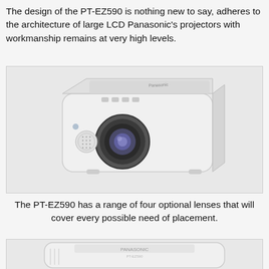The design of the PT-EZ590 is nothing new to say, adheres to the architecture of large LCD Panasonic's projectors with workmanship remains at very high levels.
[Figure (photo): Photo of a white Panasonic PT-EZ590 LCD projector shown from a three-quarter front angle, with lens visible and control buttons on top.]
The PT-EZ590 has a range of four optional lenses that will cover every possible need of placement.
[Figure (photo): Partial photo of a white Panasonic PT-EZ590 projector seen from above/front, showing the top panel with Panasonic branding.]